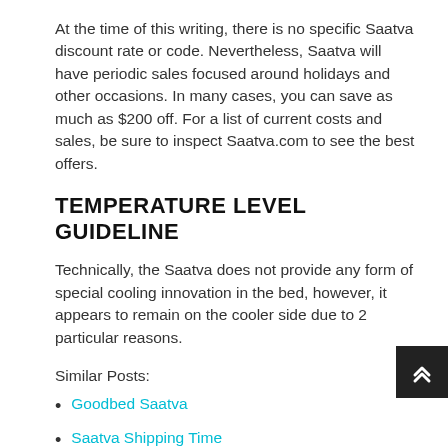At the time of this writing, there is no specific Saatva discount rate or code. Nevertheless, Saatva will have periodic sales focused around holidays and other occasions. In many cases, you can save as much as $200 off. For a list of current costs and sales, be sure to inspect Saatva.com to see the best offers.
TEMPERATURE LEVEL GUIDELINE
Technically, the Saatva does not provide any form of special cooling innovation in the bed, however, it appears to remain on the cooler side due to 2 particular reasons.
Similar Posts:
Goodbed Saatva
Saatva Shipping Time